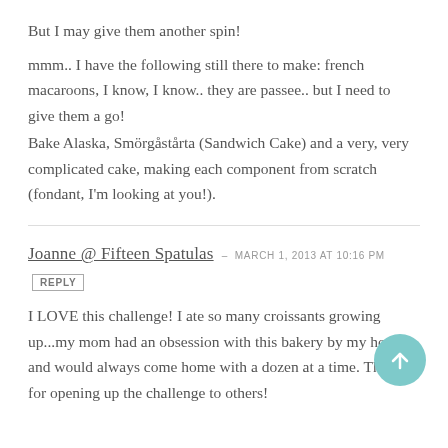But I may give them another spin!
mmm.. I have the following still there to make: french macaroons, I know, I know.. they are passee.. but I need to give them a go!
Bake Alaska, Smörgåstårta (Sandwich Cake) and a very, very complicated cake, making each component from scratch (fondant, I'm looking at you!).
Joanne @ Fifteen Spatulas – MARCH 1, 2013 at 10:16 PM
REPLY
I LOVE this challenge! I ate so many croissants growing up...my mom had an obsession with this bakery by my house and would always come home with a dozen at a time. Thanks for opening up the challenge to others!